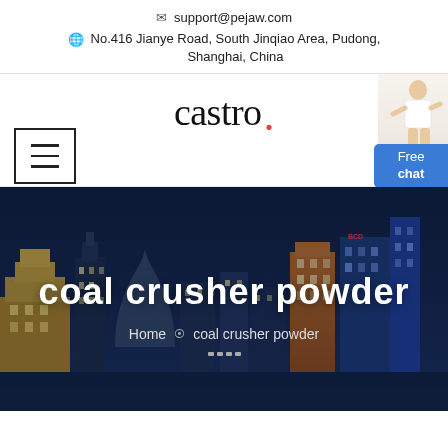✉ support@pejaw.com
🌐 No.416 Jianye Road, South Jinqiao Area, Pudong, Shanghai, China
castro.
[Figure (screenshot): Hamburger menu icon (three horizontal lines in a bordered box)]
[Figure (illustration): Female customer service representative figure with Free chat button overlay]
[Figure (photo): Hero banner with night city skyline (Shanghai) background showing the text 'coal crusher powder' and breadcrumb 'Home > coal crusher powder']